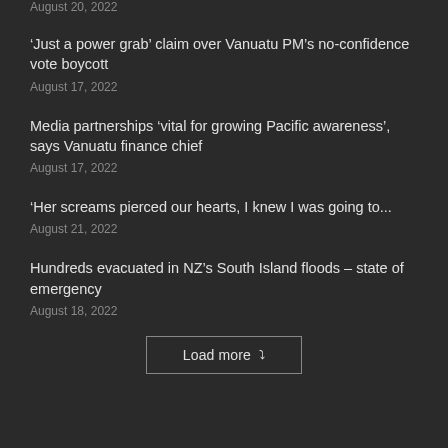August 20, 2022
‘Just a power grab’ claim over Vanuatu PM’s no-confidence vote boycott
August 17, 2022
Media partnerships ‘vital for growing Pacific awareness’, says Vanuatu finance chief
August 17, 2022
‘Her screams pierced our hearts, I knew I was going to...
August 21, 2022
Hundreds evacuated in NZ’s South Island floods – state of emergency
August 18, 2022
Load more